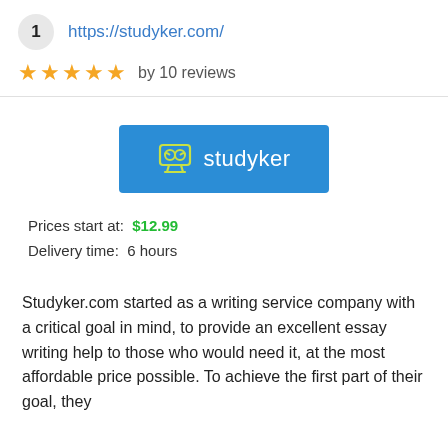1  https://studyker.com/
★★★★★ by 10 reviews
[Figure (logo): Studyker logo: blue rectangle with monitor/book icon and white text 'studyker']
Prices start at:  $12.99
Delivery time:  6 hours
Studyker.com started as a writing service company with a critical goal in mind, to provide an excellent essay writing help to those who would need it, at the most affordable price possible. To achieve the first part of their goal, they